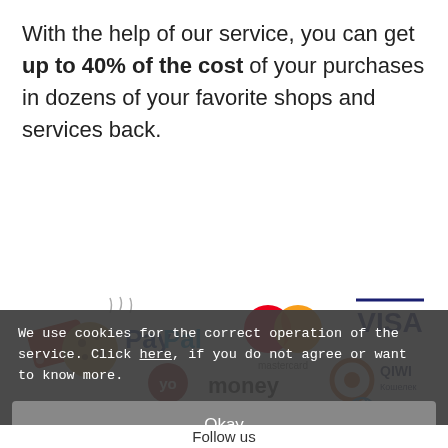With the help of our service, you can get up to 40% of the cost of your purchases in dozens of your favorite shops and services back.
[Figure (logo): Payment method logos: cookies/voucher icon, PayPal, Mastercard, VISA, YooMoney, QIWI, WebMoney]
We use cookies for the correct operation of the service. Click here, if you do not agree or want to know more.
Okay
Follow us